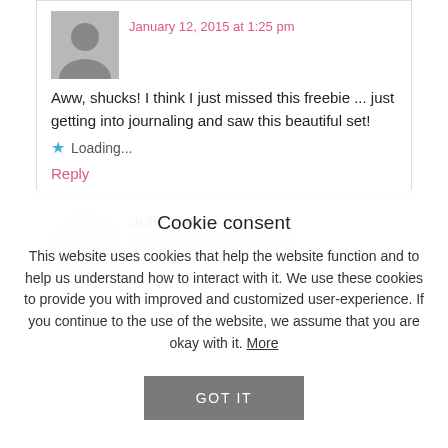January 12, 2015 at 1:25 pm
Aww, shucks! I think I just missed this freebie ... just getting into journaling and saw this beautiful set!
Loading...
Reply
Julie says
January 18, 2015 at 4:24 pm
Cookie consent
This website uses cookies that help the website function and to help us understand how to interact with it. We use these cookies to provide you with improved and customized user-experience. If you continue to the use of the website, we assume that you are okay with it. More
GOT IT